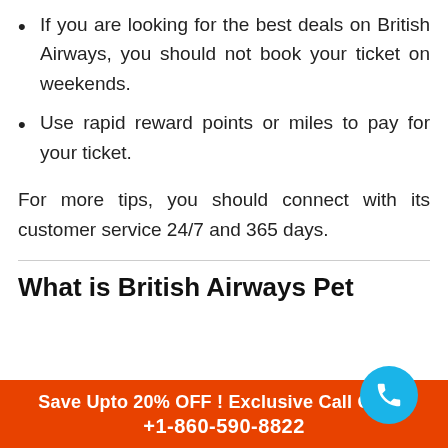If you are looking for the best deals on British Airways, you should not book your ticket on weekends.
Use rapid reward points or miles to pay for your ticket.
For more tips, you should connect with its customer service 24/7 and 365 days.
What is British Airways Pet
Save Upto 20% OFF ! Exclusive Call Only : +1-860-590-8822